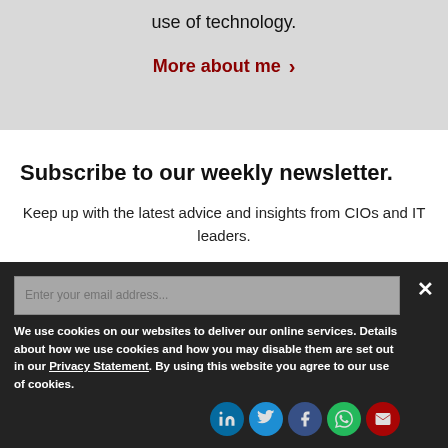use of technology.
More about me >
Subscribe to our weekly newsletter.
Keep up with the latest advice and insights from CIOs and IT leaders.
We use cookies on our websites to deliver our online services. Details about how we use cookies and how you may disable them are set out in our Privacy Statement. By using this website you agree to our use of cookies.